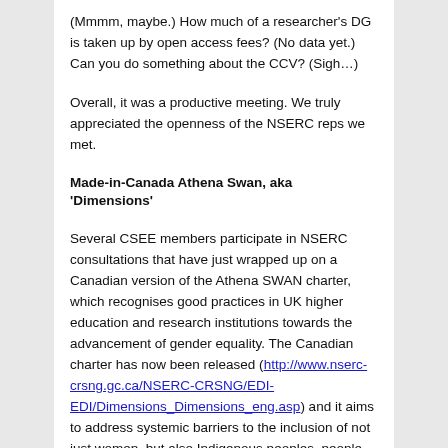(Mmmm, maybe.)  How much of a researcher's DG is taken up by open access fees? (No data yet.) Can you do something about the CCV? (Sigh…)
Overall, it was a productive meeting.  We truly appreciated the openness of the NSERC reps we met.
Made-in-Canada Athena Swan, aka 'Dimensions'
Several CSEE members participate in NSERC consultations that have just wrapped up on a Canadian version of the Athena SWAN charter, which recognises good practices in UK higher education and research institutions towards the advancement of gender equality. The Canadian charter has now been released (http://www.nserc-crsng.gc.ca/NSERC-CRSNG/EDI-EDI/Dimensions_Dimensions_eng.asp) and it aims to address systemic barriers to the inclusion of not just women, but also Indigenous peoples, people with disability, visible minorities, and LGBTQ2+ persons.  The national program – known as Dimensions –  applies to all